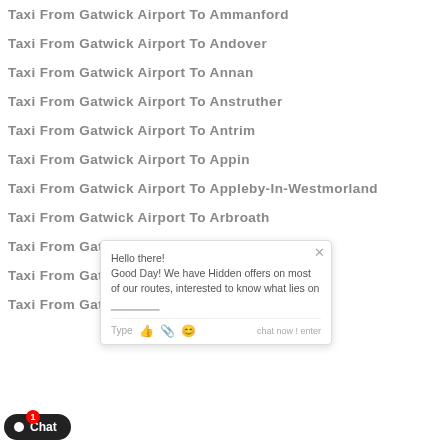Taxi From Gatwick Airport To Ammanford
Taxi From Gatwick Airport To Andover
Taxi From Gatwick Airport To Annan
Taxi From Gatwick Airport To Anstruther
Taxi From Gatwick Airport To Antrim
Taxi From Gatwick Airport To Appin
Taxi From Gatwick Airport To Appleby-In-Westmorland
Taxi From Gatwick Airport To Arbroath
Taxi From Gatwick Airport To Ardgay
Taxi From Gatwick Airport To Ardrossan
Taxi From Gatwick Airport To Arisaig
Hello there! Good Day! We have Hidden offers on most of our routes, interested to know what lies on chat now! enter